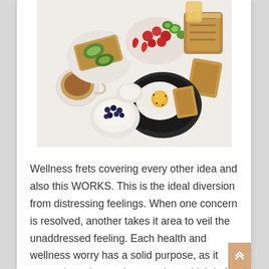[Figure (photo): Overhead flat-lay photo of a breakfast spread on a white surface, including avocado toast, a bowl of mixed berries and vegetables, a skillet with egg and toast, a cup of coffee, a bowl of blueberries with cream, and sliced bread.]
Wellness frets covering every other idea and also this WORKS. This is the ideal diversion from distressing feelings. When one concern is resolved, another takes it area to veil the unaddressed feeling. Each health and wellness worry has a solid purpose, as it conceals real upsetting emotion, which is far more hard to